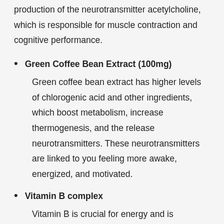production of the neurotransmitter acetylcholine, which is responsible for muscle contraction and cognitive performance.
Green Coffee Bean Extract (100mg): Green coffee bean extract has higher levels of chlorogenic acid and other ingredients, which boost metabolism, increase thermogenesis, and the release neurotransmitters. These neurotransmitters are linked to you feeling more awake, energized, and motivated.
Vitamin B complex: Vitamin B is crucial for energy and is necessary for an active lifestyle. Each serving of Prime Shred has a beneficial dose of different vitamin B, such as 15mg of B3, 1.3mg of B6, and 24mcg of B12.